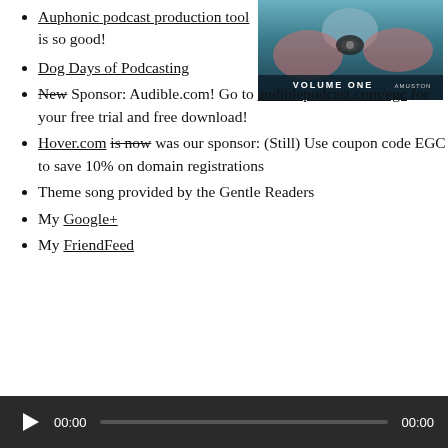[Figure (illustration): Comic book style illustration with 'VOLUME ONE' text overlay and artist signature 'AMUSTON']
Auphonic podcast production tool is so good!
Dog Days of Podcasting
New Sponsor: Audible.com! Go to audiblepodcast.com/egc for your free trial and free download!
Hover.com is now was our sponsor: (Still) Use coupon code EGC to save 10% on domain registrations
Theme song provided by the Gentle Readers
My Google+
My FriendFeed